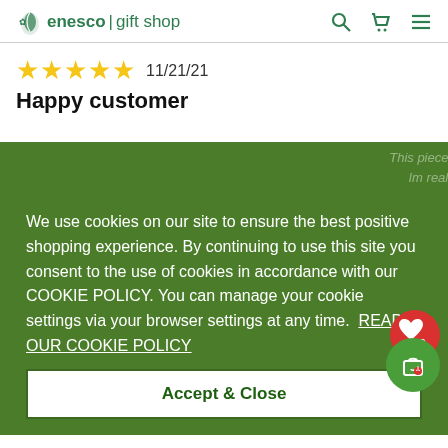enesco | gift shop
★★★★★  11/21/21
Happy customer
We use cookies on our site to ensure the best positive shopping experience. By continuing to use this site you consent to the use of cookies in accordance with our COOKIE POLICY. You can manage your cookie settings via your browser settings at any time.  READ OUR COOKIE POLICY
Accept & Close
Wedding
New
Collectables